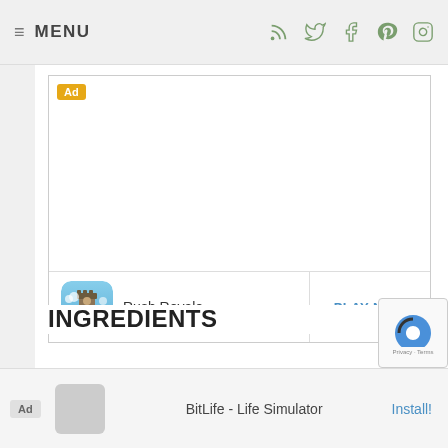≡ MENU
[Figure (screenshot): Advertisement box with 'Ad' badge in top-left corner. Contains a game advertisement for 'Rush Royale' at the bottom with a game icon on the left, game name 'Rush Royale', and 'PLAY NOW' button on the right.]
INGREDIENTS
1 1/2 Sweet Pl...
[Figure (screenshot): Bottom banner ad with 'Ad' badge, showing 'BitLife - Life Simulator' app with 'Install!' button on the right.]